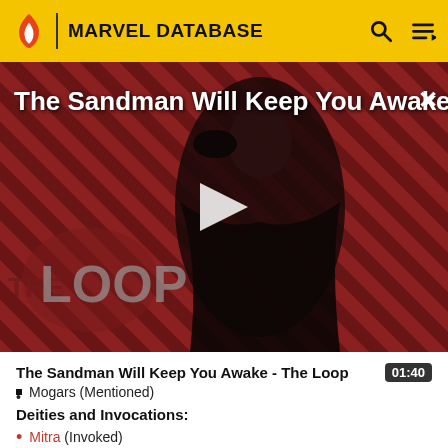MARVEL DATABASE
[Figure (screenshot): Video thumbnail showing a figure in black robes holding a raven, against a dark red diagonal striped background with 'THE LOOP' logo overlay. Title text reads 'The Sandman Will Keep You Awake...' with a play button in the center.]
The Sandman Will Keep You Awake - The Loop    01:40
Mogars (Mentioned)
Deities and Invocations:
Mitra (Invoked)